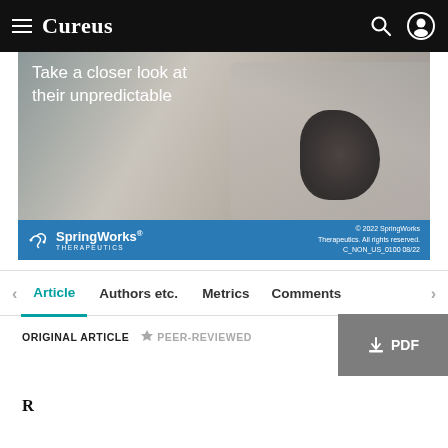Cureus
[Figure (photo): SpringWorks Therapeutics advertisement showing a child sitting on floor handling a dark object, with text 'Take a closer look at their unpredictable'. Ad footer shows SpringWorks Therapeutics logo and '© 2022 SpringWorks Therapeutics. All rights reserved. C_NON_US_0100 08/22']
Article | Authors etc. | Metrics | Comments
ORIGINAL ARTICLE
PEER-REVIEWED
PDF